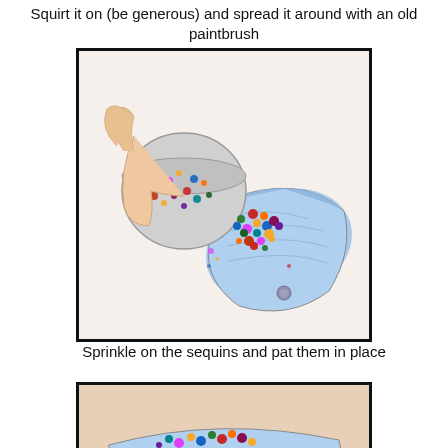Squirt it on (be generous) and spread it around with an old paintbrush
[Figure (photo): Hands pouring colorful sequins/gems from a round tin container onto a shiny blue metallic clutch purse on a white surface]
Sprinkle on the sequins and pat them in place
[Figure (photo): Hands patting colorful sequins onto a blue metallic clutch purse, close-up view]